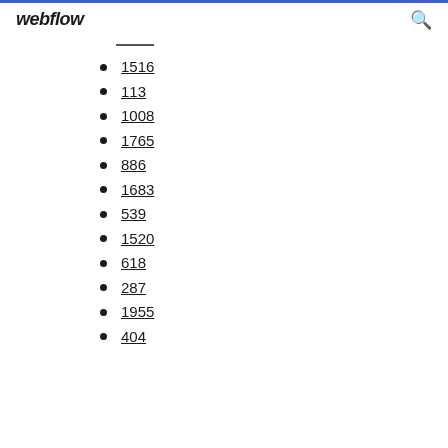webflow
1516
113
1008
1765
886
1683
539
1520
618
287
1955
404